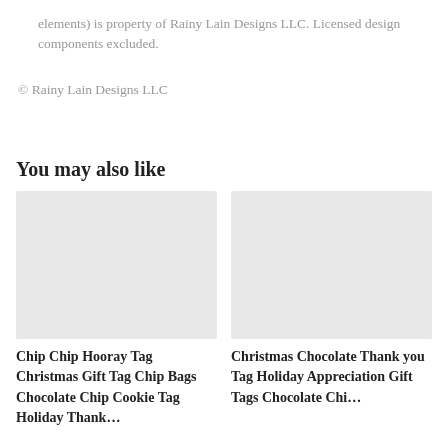elements) is property of Rainy Lain Designs LLC. Licensed design components excluded.
© Rainy Lain Designs LLC
You may also like
[Figure (photo): Product image placeholder (light gray box) for Chip Chip Hooray Tag]
Chip Chip Hooray Tag Christmas Gift Tag Chip Bags Chocolate Chip Cookie Tag Holiday Thank…
[Figure (photo): Product image placeholder (light gray box) for Christmas Chocolate Thank you Tag]
Christmas Chocolate Thank you Tag Holiday Appreciation Gift Tags Chocolate Chip…